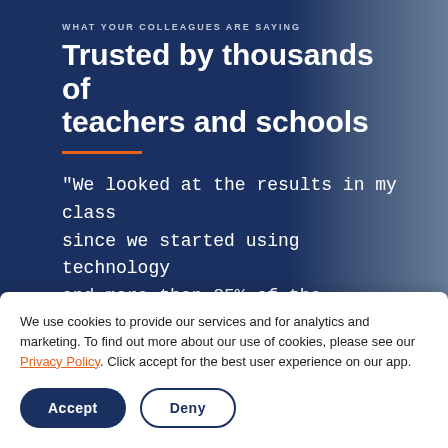WHAT YOUR COLLEAGUES ARE SAYING
Trusted by thousands of teachers and schools
"We looked at the results in my class since we started using technology and more than 85% of the children are able to get more grip on the learning material and we also saw
We use cookies to provide our services and for analytics and marketing. To find out more about our use of cookies, please see our Privacy Policy. Click accept for the best user experience on our app.
Accept
Deny